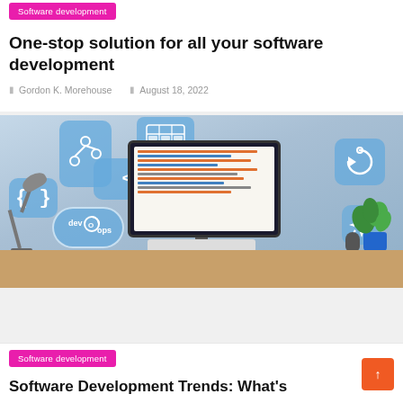Software development
One-stop solution for all your software development
Gordon K. Morehouse   August 18, 2022
[Figure (photo): Software development themed illustration showing a computer monitor on a desk with a lamp, plant, keyboard, and floating tech icons including code tags, braces, git branch, devops gear icons on a light blue background]
Software development
Software Development Trends: What's